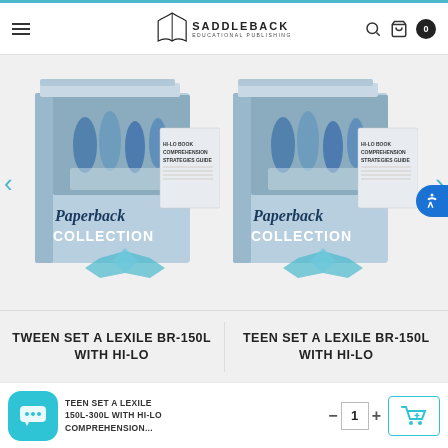[Figure (logo): Saddleback Educational Publishing logo with open book icon and company name]
[Figure (photo): Two Saddleback Paperback Collection box sets side by side, each showing teens sitting together on cover, with Hi-Lo Book Comprehension Strategies Guide booklet]
TWEEN SET A LEXILE BR-150L WITH HI-LO
TEEN SET A LEXILE BR-150L WITH HI-LO
[Figure (illustration): Teal chat/message bubble icon with dots]
TEEN SET A LEXILE 150L-300L WITH HI-LO COMPREHENSION...